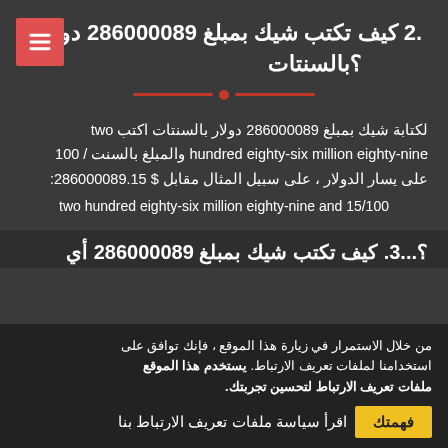.2 كيف تكتب شيك بمبلغ 286000089 دولار بالسنتات؟
لكتابة شيك بمبلغ 286000089 دولار بالسنتات اكتب two hundred eighty-six million eighty-nine والمبلغ بالسنت / 100 على يسار الدولار ، على سبيل المثال مقابل $ 286000089.15: two hundred eighty-six million eighty-nine and 15/100
.3 كيف تكتب شيك بمبلغ 286000089 أي...؟
من خلال الاستمرار في زيارة هذا الموقع ، فإنك توافق على استخدامنا لملفات تعريف الارتباط. يستخدم هذا الموقع ملفات تعريف الارتباط لتحسين تجربتك.
اقرأ سياسة ملفات تعريف الارتباط بنا
فهمتك